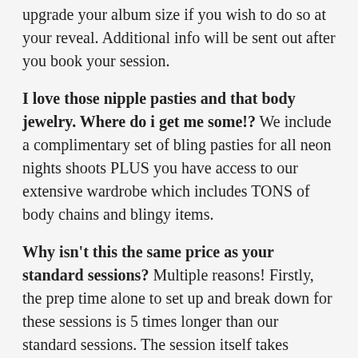upgrade your album size if you wish to do so at your reveal. Additional info will be sent out after you book your session.
I love those nipple pasties and that body jewelry. Where do i get me some!? We include a complimentary set of bling pasties for all neon nights shoots PLUS you have access to our extensive wardrobe which includes TONS of body chains and blingy items.
Why isn't this the same price as your standard sessions? Multiple reasons! Firstly, the prep time alone to set up and break down for these sessions is 5 times longer than our standard sessions. The session itself takes double the shoot time and editing colored images takes additional work as well. We are also including upgraded versions our our albums which cost more than our standard lux albums.
Is it really only 10 clients that your taking? Yes. Our entire